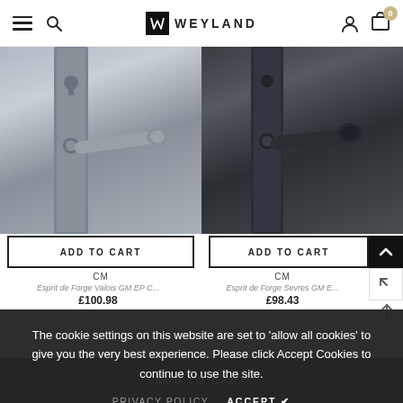Weyland — navigation bar with hamburger menu, search, logo, user icon, cart (0)
[Figure (photo): Silver/pewter door handle on backplate — Esprit de Forge Valois GM EP product photo, left column]
ADD TO CART
CM
Esprit de Forge Valois GM EP C...
£100.98
[Figure (photo): Dark/black door handle on backplate — Esprit de Forge Sevres GM product photo, right column]
ADD TO CART
CM
Esprit de Forge Sevres GM E...
£98.43
The cookie settings on this website are set to 'allow all cookies' to give you the very best experience. Please click Accept Cookies to continue to use the site.
PRIVACY POLICY
ACCEPT ✔
ADD TO CART